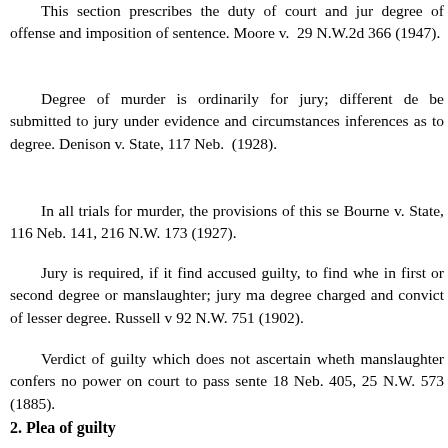This section prescribes the duty of court and jury as to degree of offense and imposition of sentence. Moore v. … 29 N.W.2d 366 (1947).
Degree of murder is ordinarily for jury; different degrees may be submitted to jury under evidence and circumstances warranting inferences as to degree. Denison v. State, 117 Neb. … (1928).
In all trials for murder, the provisions of this section apply. Bourne v. State, 116 Neb. 141, 216 N.W. 173 (1927).
Jury is required, if it find accused guilty, to find whether murder in first or second degree or manslaughter; jury may acquit of degree charged and convict of lesser degree. Russell v. … 92 N.W. 751 (1902).
Verdict of guilty which does not ascertain whether murder or manslaughter confers no power on court to pass sentence. … 18 Neb. 405, 25 N.W. 573 (1885).
Failure to negative fact that crime was of higher degree affords no ground for reversal. Williams v. State, 6 Neb. 334 (1…
2. Plea of guilty